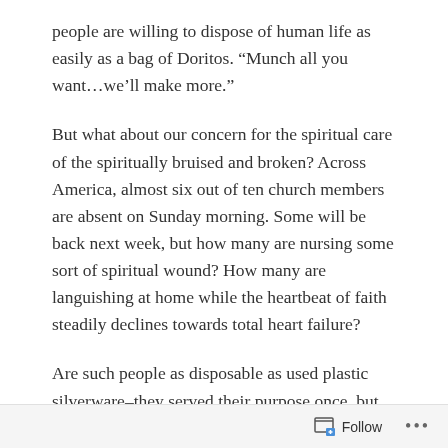people are willing to dispose of human life as easily as a bag of Doritos. “Munch all you want…we’ll make more.”
But what about our concern for the spiritual care of the spiritually bruised and broken? Across America, almost six out of ten church members are absent on Sunday morning. Some will be back next week, but how many are nursing some sort of spiritual wound? How many are languishing at home while the heartbeat of faith steadily declines towards total heart failure?
Are such people as disposable as used plastic silverware–they served their purpose once, but there is a big box full of new ones which don’t require so much work to make them useful again? Or do we, like Jesus,
Follow